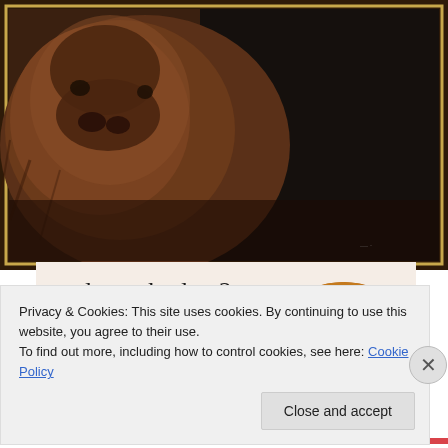[Figure (photo): Dark painting or photograph showing a close-up of a bison head with shaggy brown fur against a dark background; a person in dark clothing is visible on the right side. The image is framed with a thin gold/yellow border.]
and on a budget?
Let us build it for you
[Figure (photo): Circular cropped photo of a person wearing a brown/tan sweater with bracelets, working with their hands on a surface (possibly writing or crafting).]
Let's get started
Privacy & Cookies: This site uses cookies. By continuing to use this website, you agree to their use.
To find out more, including how to control cookies, see here: Cookie Policy
Close and accept